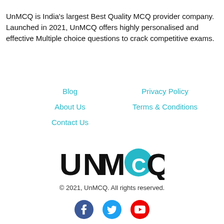UnMCQ is India's largest Best Quality MCQ provider company. Launched in 2021, UnMCQ offers highly personalised and effective Multiple choice questions to crack competitive exams.
Blog
Privacy Policy
About Us
Terms & Conditions
Contact Us
[Figure (logo): UnMCQ logo with teal circle replacing the letter O]
© 2021, UnMCQ. All rights reserved.
[Figure (infographic): Social media icons: Facebook (blue circle), Twitter (light blue circle), YouTube (red circle)]